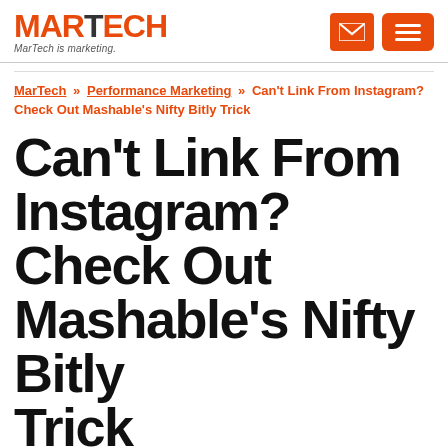MARTECH — MarTech is marketing.
MarTech » Performance Marketing » Can't Link From Instagram? Check Out Mashable's Nifty Bitly Trick
Can't Link From Instagram? Check Out Mashable's Nifty Bitly Trick
One of the limitations of Instagram as a